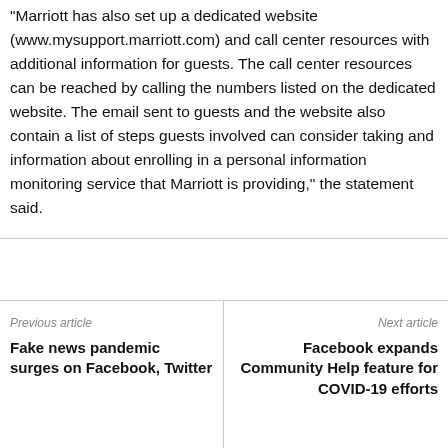“Marriott has also set up a dedicated website (www.mysupport.marriott.com) and call center resources with additional information for guests. The call center resources can be reached by calling the numbers listed on the dedicated website. The email sent to guests and the website also contain a list of steps guests involved can consider taking and information about enrolling in a personal information monitoring service that Marriott is providing,” the statement said.
Previous article
Fake news pandemic surges on Facebook, Twitter
Next article
Facebook expands Community Help feature for COVID-19 efforts